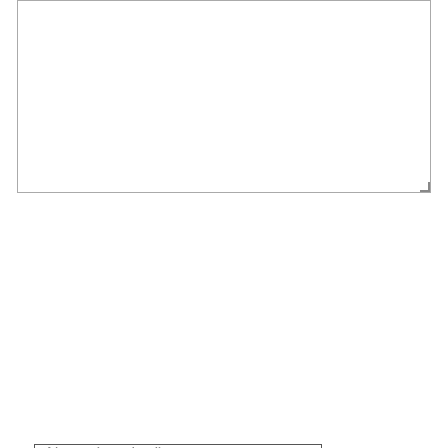[Figure (screenshot): A large empty textarea input box with resize handle at bottom-right corner]
Name (required)
E-Mail (required)
This website uses cookies to improve your experience. We'll assume you're ok with this, but you can opt-out if you wish.
Accept
Reject
Privacy Policy